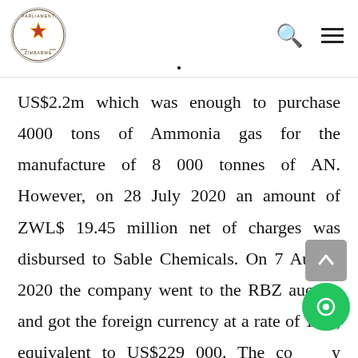Parliament of Zimbabwe header with logo, search icon, and menu icon
US$2.2m which was enough to purchase 4000 tons of Ammonia gas for the manufacture of 8 000 tonnes of AN. However, on 28 July 2020 an amount of ZWL$ 19.45 million net of charges was disbursed to Sable Chemicals. On 7 August 2020 the company went to the RBZ auction and got the foreign currency at a rate of 1:85, equivalent to US$229 000. The company paid for ammonia equivalent of 407 tonnes and